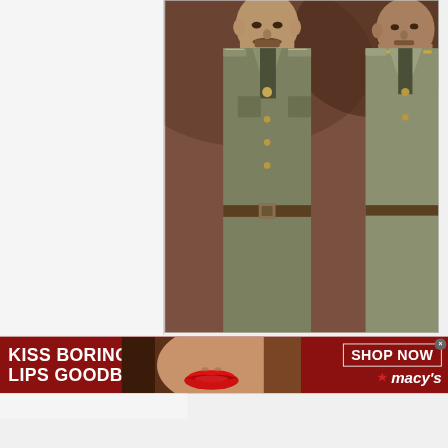[Figure (photo): Historical colorized photograph of military officers in olive/brown uniforms with medals and belts, showing two figures prominently, one with a mustache in the foreground]
[Figure (photo): Advertisement banner for Macy's lipstick promotion. Dark red background with white text reading 'KISS BORING LIPS GOODBYE' on the left, a model with red lips in the center, and 'SHOP NOW' button with Macy's star logo on the right.]